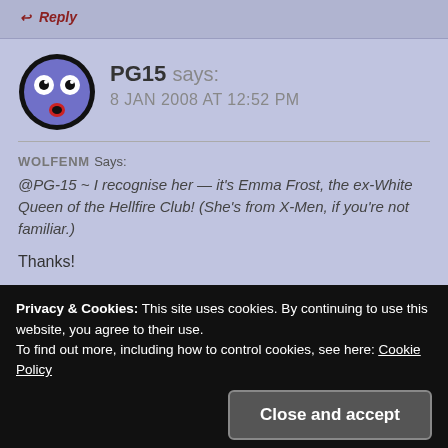↩ Reply
PG15 says:
8 JAN 2008 AT 12:52 PM
WOLFENM Says:
@PG-15 ~ I recognise her — it's Emma Frost, the ex-White Queen of the Hellfire Club! (She's from X-Men, if you're not familiar.)

Thanks!
Privacy & Cookies: This site uses cookies. By continuing to use this website, you agree to their use.
To find out more, including how to control cookies, see here: Cookie Policy
Close and accept